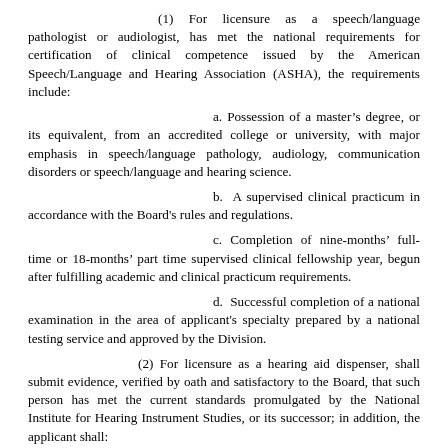(1) For licensure as a speech/language pathologist or audiologist, has met the national requirements for certification of clinical competence issued by the American Speech/Language and Hearing Association (ASHA), the requirements include:
a. Possession of a master’s degree, or its equivalent, from an accredited college or university, with major emphasis in speech/language pathology, audiology, communication disorders or speech/language and hearing science.
b. A supervised clinical practicum in accordance with the Board's rules and regulations.
c. Completion of nine-months’ full-time or 18-months’ part time supervised clinical fellowship year, begun after fulfilling academic and clinical practicum requirements.
d. Successful completion of a national examination in the area of applicant's specialty prepared by a national testing service and approved by the Division.
(2) For licensure as a hearing aid dispenser, shall submit evidence, verified by oath and satisfactory to the Board, that such person has met the current standards promulgated by the National Institute for Hearing Instrument Studies, or its successor; in addition, the applicant shall:
a. Provide verification of a high school